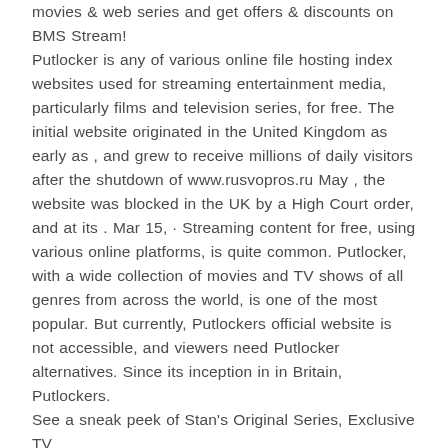movies & web series and get offers & discounts on BMS Stream! Putlocker is any of various online file hosting index websites used for streaming entertainment media, particularly films and television series, for free. The initial website originated in the United Kingdom as early as , and grew to receive millions of daily visitors after the shutdown of www.rusvopros.ru May , the website was blocked in the UK by a High Court order, and at its . Mar 15, · Streaming content for free, using various online platforms, is quite common. Putlocker, with a wide collection of movies and TV shows of all genres from across the world, is one of the most popular. But currently, Putlockers official website is not accessible, and viewers need Putlocker alternatives. Since its inception in in Britain, Putlockers. See a sneak peek of Stan's Original Series, Exclusive TV